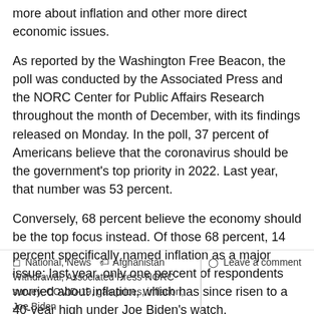more about inflation and other more direct economic issues.
As reported by the Washington Free Beacon, the poll was conducted by the Associated Press and the NORC Center for Public Affairs Research throughout the month of December, with its findings released on Monday. In the poll, 37 percent of Americans believe that the coronavirus should be the government's top priority in 2022. Last year, that number was 53 percent.
Conversely, 68 percent believe the economy should be the top focus instead. Of those 68 percent, 14 percent specifically named inflation as a major issue; last year, only one percent of respondents worried about inflation, which has since risen to a 40-year high under Joe Biden's watch.
READ MORE
National, News  Afghanistan Withdrawal, Associated Press-NORC survey, COVID-19, gas prices, inflation, Joe Biden  Leave a comment